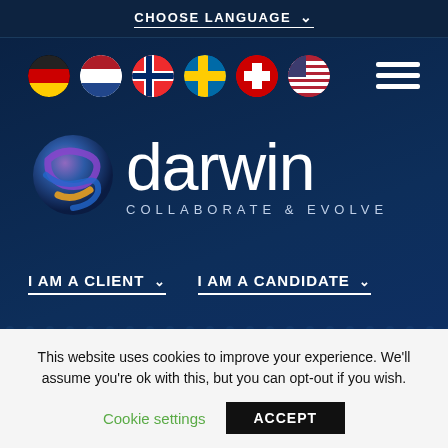CHOOSE LANGUAGE
[Figure (illustration): Row of circular country flag icons: Germany, Netherlands, Norway, Sweden, Switzerland, USA]
[Figure (logo): Darwin logo with globe graphic, text 'darwin' and tagline 'COLLABORATE & EVOLVE']
I AM A CLIENT   I AM A CANDIDATE
[Figure (illustration): Partial circular flag icon showing Indonesian flag (red and white) at bottom of blue section]
This website uses cookies to improve your experience. We'll assume you're ok with this, but you can opt-out if you wish.
Cookie settings   ACCEPT